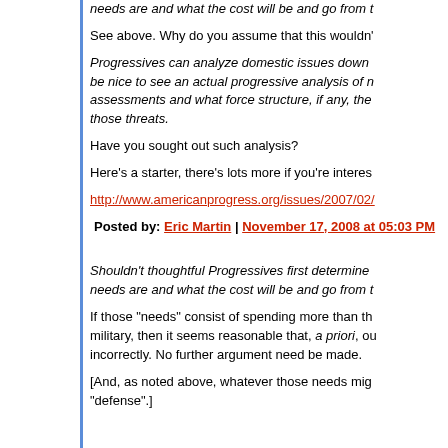needs are and what the cost will be and go from t
See above. Why do you assume that this wouldn'
Progressives can analyze domestic issues down to be nice to see an actual progressive analysis of n assessments and what force structure, if any, the those threats.
Have you sought out such analysis?
Here's a starter, there's lots more if you're interes
http://www.americanprogress.org/issues/2007/02/
Posted by: Eric Martin | November 17, 2008 at 05:03 PM
Shouldn't thoughtful Progressives first determine needs are and what the cost will be and go from t
If those "needs" consist of spending more than th military, then it seems reasonable that, a priori, ou incorrectly. No further argument need be made.
[And, as noted above, whatever those needs mig "defense".]